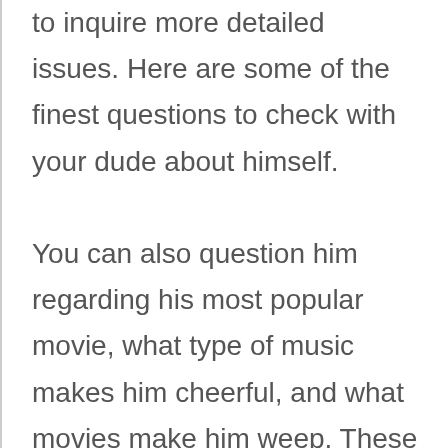to inquire more detailed issues. Here are some of the finest questions to check with your dude about himself. You can also question him regarding his most popular movie, what type of music makes him cheerful, and what movies make him weep. These questions will help you figure out his choices, and can help you plan the future dates. Finally, you can ask him about his treasured bucket list item or favorite video. You will be able to get a preview of what he attitudes in a partner.